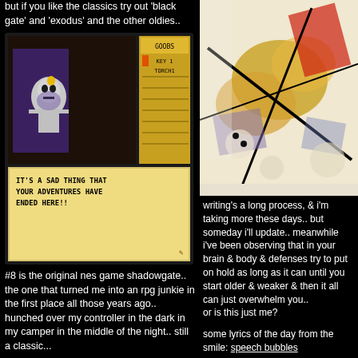but if you like the classics try out 'black gate' and 'exodus' and the other oldies..
[Figure (screenshot): Screenshot of old NES game Shadowgate showing a skeleton character with inventory screen and text: IT'S A SAD THING THAT YOUR ADVENTURES HAVE ENDED HERE!!]
#8 is the original nes game shadowgate.. the one that turned me into an rpg junkie in the first place all those years ago.. hunched over my controller in the dark in my camper in the middle of the night.. still a classic...
[Figure (photo): Final Fantasy NES game box art showing the title 'FINAL FANTASY' in pink letters with subtitle 'Enter a whole new realm of challenge and adventure.' and an image of a crystal ball with a floating castle and swords]
[Figure (photo): Abstract colorful painting with geometric shapes and lines in red, orange, yellow, blue, and black on white background]
writing's a long process, & i'm taking more these days.. but someday i'll update.. meanwhile i've been observing that in general your brain & body & defenses try to put things on hold as long as it can until you start getting older & weaker & then it all can just overwhelm you..
or is this just me?
some lyrics of the day from the smile: speech bubbles
we run for the hills
we run like fools
our city is in flames
the bells ringing
the bells ringing
devastation has come